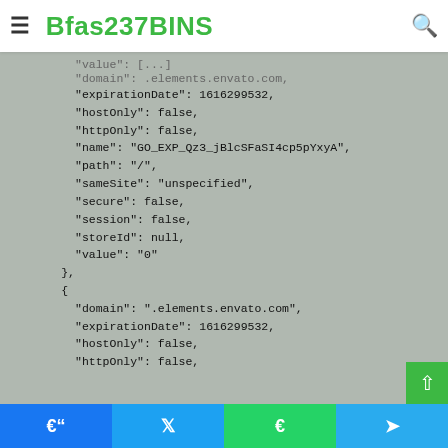Bfas237BINS
"value": [...]
"domain": .elements.envato.com,
"expirationDate": 1616299532,
"hostOnly": false,
"httpOnly": false,
"name": "GO_EXP_Qz3_jBlcSFaSI4cp5pYxyA",
"path": "/",
"sameSite": "unspecified",
"secure": false,
"session": false,
"storeId": null,
"value": "0"
},
{
"domain": ".elements.envato.com",
"expirationDate": 1616299532,
"hostOnly": false,
"httpOnly": false,